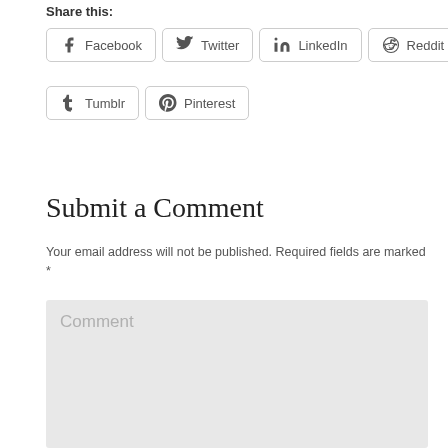Share this:
Facebook
Twitter
LinkedIn
Reddit
Tumblr
Pinterest
Submit a Comment
Your email address will not be published. Required fields are marked *
Comment